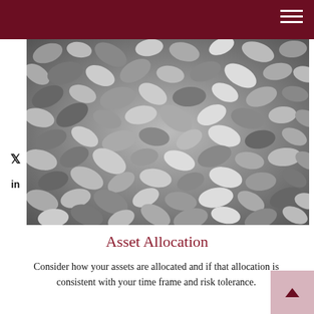[Figure (photo): Close-up black and white photo of mixed beans/legumes, showing various shapes and sizes of beans filling the entire frame.]
Asset Allocation
Consider how your assets are allocated and if that allocation is consistent with your time frame and risk tolerance.